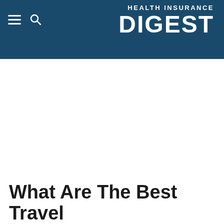HEALTH INSURANCE DIGEST
What Are The Best Travel